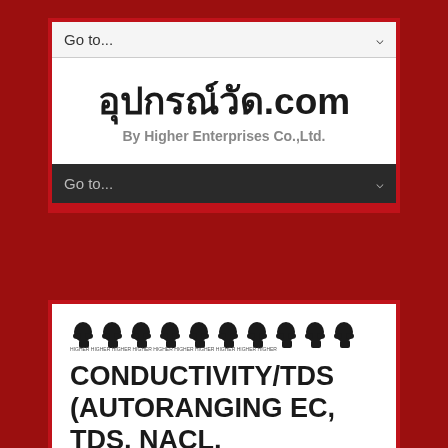[Figure (screenshot): Website navigation dropdown bar at top, white background with 'Go to...' text and dropdown arrow]
อุปกรณ์วัด.com
By Higher Enterprises Co.,Ltd.
[Figure (screenshot): Dark navigation bar with 'Go to...' dropdown]
[Figure (logo): Row of monkey/gorilla icons logo]
CONDUCTIVITY/TDS (AUTORANGING EC, TDS, NACL, TEMPERATURE METER)